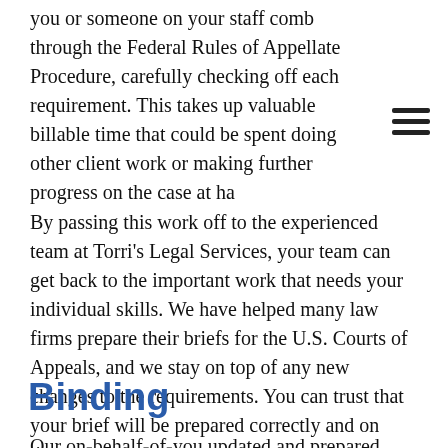you or someone on your staff comb through the Federal Rules of Appellate Procedure, carefully checking off each requirement. This takes up valuable billable time that could be spent doing other client work or making further progress on the case at ha
By passing this work off to the experienced team at Torri's Legal Services, your team can get back to the important work that needs your individual skills. We have helped many law firms prepare their briefs for the U.S. Courts of Appeals, and we stay on top of any new changes to the requirements. You can trust that your brief will be prepared correctly and on time.
Binding
Our on-behalf-of-you updated and prepared before getting...